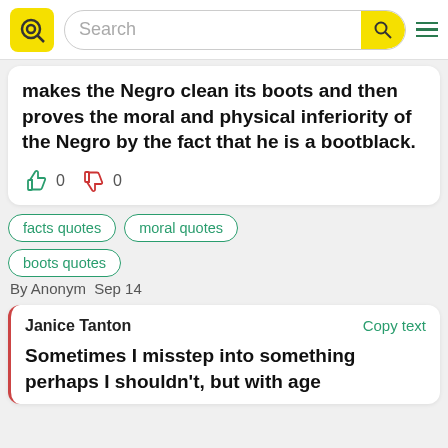Search
makes the Negro clean its boots and then proves the moral and physical inferiority of the Negro by the fact that he is a bootblack.
0 0 (thumbs up and thumbs down votes)
facts quotes
moral quotes
boots quotes
By Anonym  Sep 14
Janice Tanton   Copy text
Sometimes I misstep into something perhaps I shouldn't, but with age